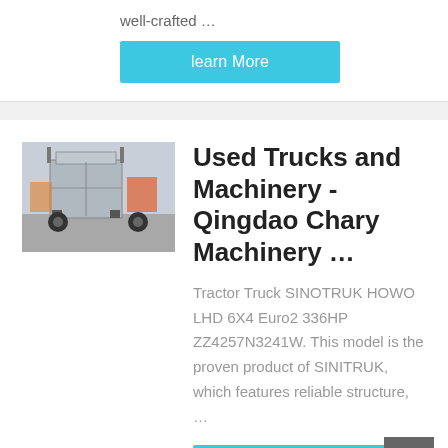well-crafted …
learn More
Used Trucks and Machinery - Qingdao Chary Machinery …
Tractor Truck SINOTRUK HOWO LHD 6X4 Euro2 336HP ZZ4257N3241W. This model is the proven product of SINITRUK, which features reliable structure, …
[Figure (photo): Photo of a used tractor truck (HOWO) viewed from the rear, on a road with other vehicles in the background.]
learn More